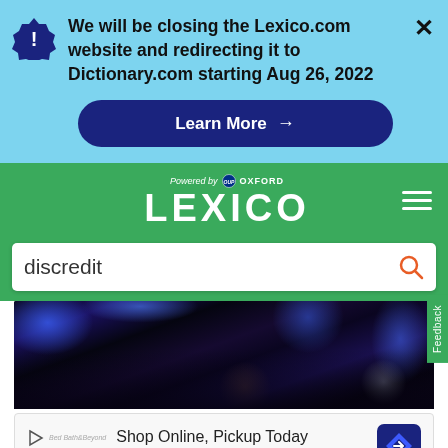We will be closing the Lexico.com website and redirecting it to Dictionary.com starting Aug 26, 2022
[Figure (screenshot): Lexico website screenshot showing a notification banner, green header with Oxford/Lexico branding, search bar with 'discredit' query, photo of crowd at event, and World Market advertisement]
Learn More →
Powered by OXFORD LEXICO
discredit
Shop Online, Pickup Today World Market
Feedback